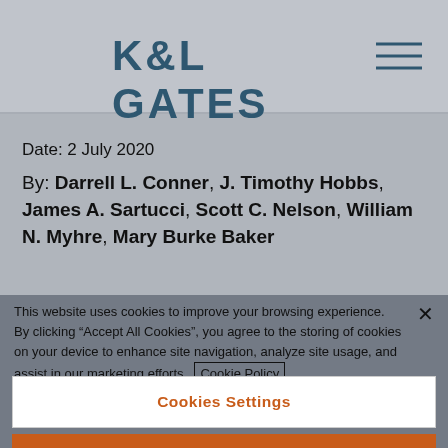K&L GATES
Date: 2 July 2020
By: Darrell L. Conner, J. Timothy Hobbs, James A. Sartucci, Scott C. Nelson, William N. Myhre, Mary Burke Baker
This website uses cookies to improve your browsing experience. By clicking “Accept All Cookies”, you agree to the storing of cookies on your device to enhance site navigation, analyze site usage, and assist in our marketing efforts. Cookie Policy
Cookies Settings
Reject Cookies